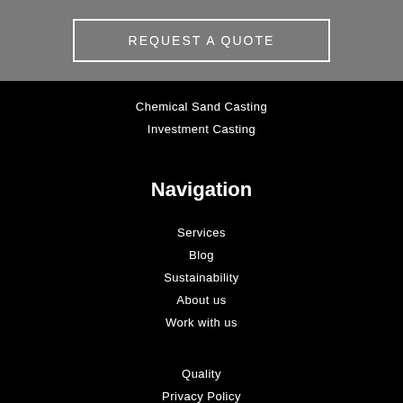REQUEST A QUOTE
Chemical Sand Casting
Investment Casting
Navigation
Services
Blog
Sustainability
About us
Work with us
Quality
Privacy Policy
Cookies Policy
[Figure (infographic): Three icons in a row: phone, location pin, envelope]